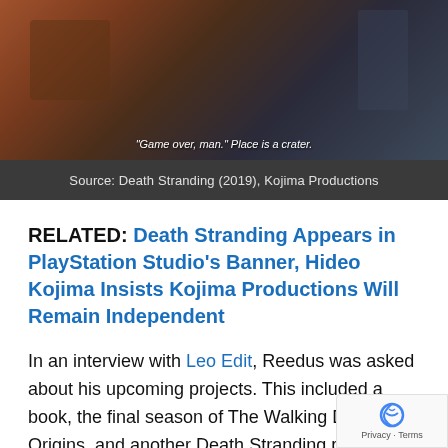[Figure (screenshot): Game screenshot from Death Stranding showing character in brown jacket with subtitle text 'Game over, man.' Place is a crater.']
Source: Death Stranding (2019), Kojima Productions
RELATED: Death Stranding Appears in PlayStation Studio's Banner, Hideo Kojima Insists Kojima Productions Will Remain Independent
In an interview with Leo Edit, Reedus was asked about his upcoming projects. This included a book, the final season of The Walking Dead: Origins, and another Death Stranding project. “We just started the second one,” Reedus revealed.
After this Reedus discussed how Guillermo D — who directed Mimic, one of Reedus’ first films